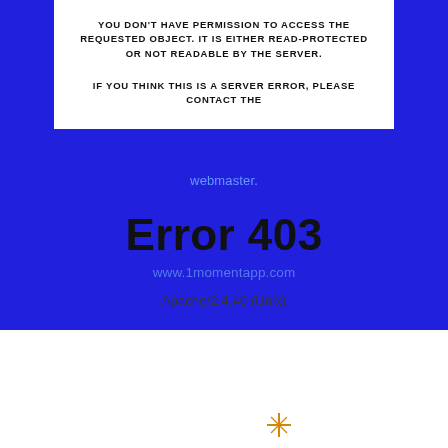YOU DON'T HAVE PERMISSION TO ACCESS THE REQUESTED OBJECT. IT IS EITHER READ-PROTECTED OR NOT READABLE BY THE SERVER.
IF YOU THINK THIS IS A SERVER ERROR, PLEASE CONTACT THE
webmaster.
Error 403
www.1momentapp.com
Apache/2.4.46 (Unix)
Let's Work Together